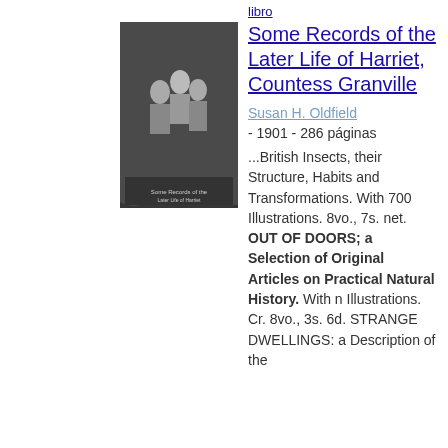libro
[Figure (photo): Book cover of 'Some Records of the Later Life of Harriet, Countess Granville' showing a group of people in a historical photograph]
Some Records of the Later Life of Harriet, Countess Granville
Susan H. Oldfield
- 1901 - 286 páginas
...British Insects, their Structure, Habits and Transformations. With 700 Illustrations. 8vo., 7s. net. OUT OF DOORS; a Selection of Original Articles on Practical Natural History. With n Illustrations. Cr. 8vo., 3s. 6d. STRANGE DWELLINGS: a Description of the